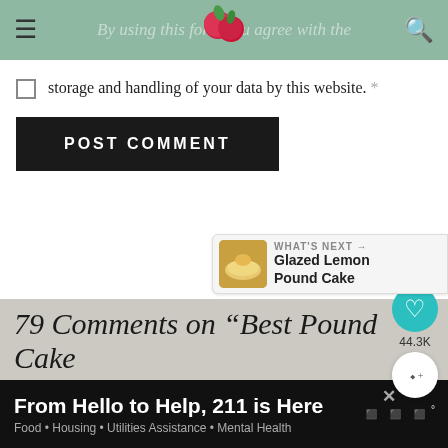By using this form you agree with the storage and handling of your data by this website.
storage and handling of your data by this website. *
POST COMMENT
This site uses Akismet to reduce spam. Learn how your comment data is processed.
44.3K
WHAT'S NEXT → Glazed Lemon Pound Cake
79 Comments on “Best Pound Cake
From Hello to Help, 211 is Here
Food • Housing • Utilities Assistance • Mental Health